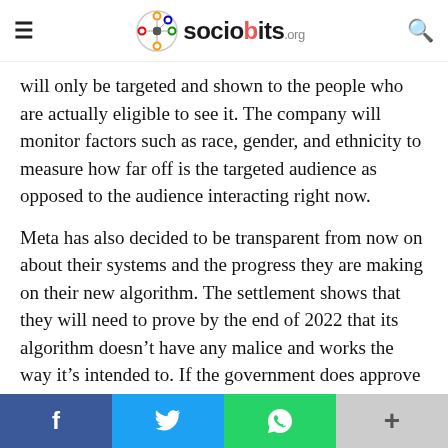sociobits.org
will only be targeted and shown to the people who are actually eligible to see it. The company will monitor factors such as race, gender, and ethnicity to measure how far off is the targeted audience as opposed to the audience interacting right now.
Meta has also decided to be transparent from now on about their systems and the progress they are making on their new algorithm. The settlement shows that they will need to prove by the end of 2022 that its algorithm doesn't have any malice and works the way it's intended to. If the government does approve it, a third body will be given the responsibility to investigate and verify the workings on an ongoing basis.
f  [twitter bird]  [WhatsApp]  +